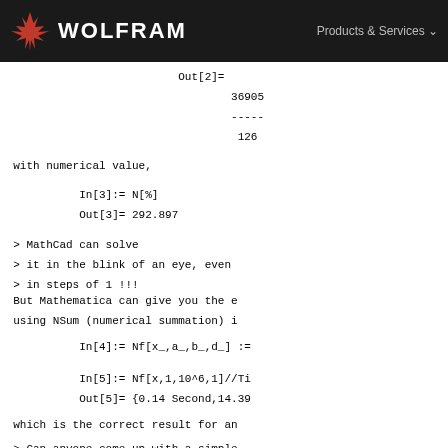WOLFRAM   Products & Services
Out[2]=
        36905
        -----
         126
with numerical value,
In[3]:= N[%]
Out[3]= 292.897
> MathCad can solve
> it in the blink of an eye, even
> in steps of 1 !!!
But Mathematica can give you the e
using NSum (numerical summation) i
In[4]:= Nf[x_,a_,b_,d_] :=
In[5]:= Nf[x,1,10^6,1]//Ti
Out[5]= {0.14 Second,14.39
which is the correct result for an
> Can anyone come up with a simple